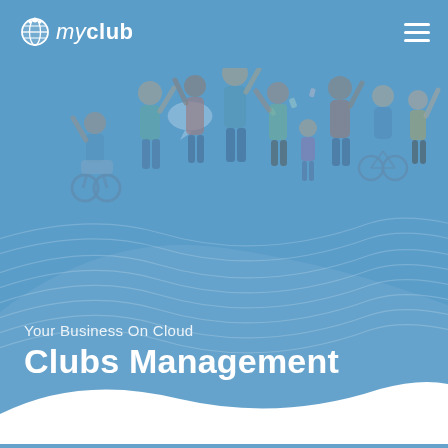[Figure (logo): myclub logo with globe icon in white, top left header]
[Figure (illustration): Diverse group of people including a person in a wheelchair and a person on a bicycle, celebrating with raised hands, standing on wavy background lines, semi-transparent over blue background]
Your Business On Cloud
Clubs Management